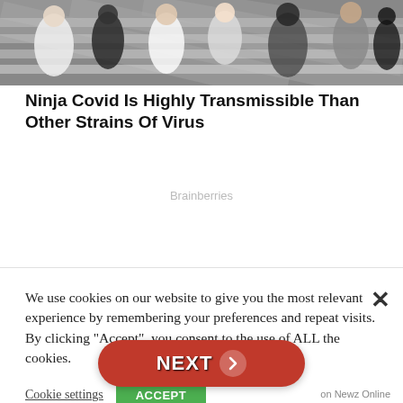[Figure (photo): People crossing a zebra/crosswalk street, photographed from above, wearing masks and casual clothing.]
Ninja Covid Is Highly Transmissible Than Other Strains Of Virus
Brainberries
We use cookies on our website to give you the most relevant experience by remembering your preferences and repeat visits. By clicking “Accept”, you consent to the use of ALL the cookies.
Cookie settings
NEXT
on Newz Online